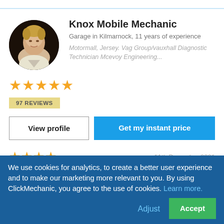[Figure (photo): Circular profile photo of a person (mechanic) with short blonde hair against dark background]
Knox Mobile Mechanic
Garage in Kilmarnock, 11 years of experience
Motormall, Jersey. Vag Group/vauxhall Diagnostic Technician Mcevoy Engineering...
[Figure (other): Five gold star rating icons]
97 REVIEWS
View profile
Get my instant price
[Figure (other): Four gold star rating icons (partial row for a review)]
11th December 2021
We use cookies for analytics, to create a better user experience and to make our marketing more relevant to you. By using ClickMechanic, you agree to the use of cookies. Learn more.
Adjust
Accept